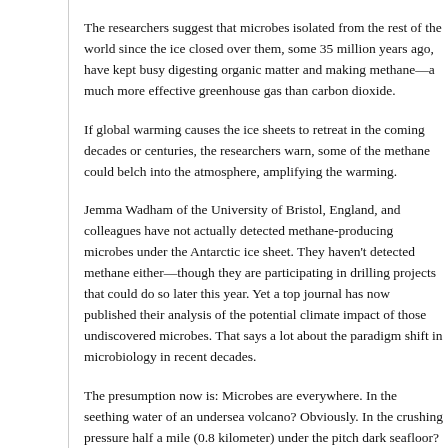The researchers suggest that microbes isolated from the rest of the world since the ice closed over them, some 35 million years ago, have kept busy digesting organic matter and making methane—a much more effective greenhouse gas than carbon dioxide.
If global warming causes the ice sheets to retreat in the coming decades or centuries, the researchers warn, some of the methane could belch into the atmosphere, amplifying the warming.
Jemma Wadham of the University of Bristol, England, and colleagues have not actually detected methane-producing microbes under the Antarctic ice sheet. They haven't detected methane either—though they are participating in drilling projects that could do so later this year. Yet a top journal has now published their analysis of the potential climate impact of those undiscovered microbes. That says a lot about the paradigm shift in microbiology in recent decades.
The presumption now is: Microbes are everywhere. In the seething water of an undersea volcano? Obviously. In the crushing pressure half a mile (0.8 kilometer) under the pitch dark seafloor? Demonstrably. Under a mile or two of Antarctic ice? Why not?—there've been a few unconfirmed reports already—and why wouldn't some of those bugs be producing